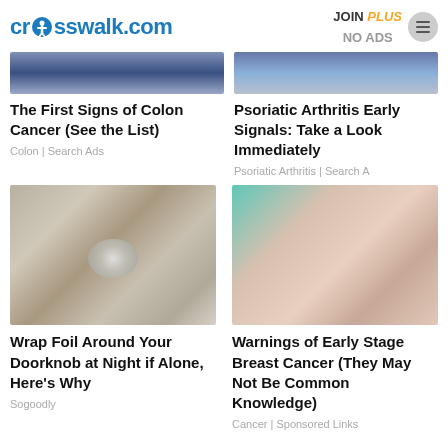crosswalk.com | JOIN PLUS NO ADS
[Figure (screenshot): Top left article thumbnail - partial image of person]
The First Signs of Colon Cancer (See the List)
Colon | Search Ads
[Figure (screenshot): Top right article thumbnail - partial image of person]
Psoriatic Arthritis Early Signals: Take a Look Immediately
Psoriatic Arthritis | Search A
[Figure (photo): Door knob wrapped in aluminum foil]
Wrap Foil Around Your Doorknob at Night if Alone, Here's Why
Sogoodly
[Figure (photo): Woman in teal shirt scratching chest with red nails]
Warnings of Early Stage Breast Cancer (They May Not Be Common Knowledge)
Cancer | Sponsored Links